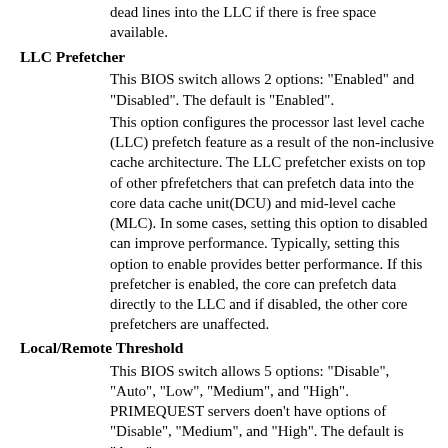dead lines into the LLC if there is free space available.
LLC Prefetcher
This BIOS switch allows 2 options: "Enabled" and "Disabled". The default is "Enabled".
This option configures the processor last level cache (LLC) prefetch feature as a result of the non-inclusive cache architecture. The LLC prefetcher exists on top of other pfrefetchers that can prefetch data into the core data cache unit(DCU) and mid-level cache (MLC). In some cases, setting this option to disabled can improve performance. Typically, setting this option to enable provides better performance. If this prefetcher is enabled, the core can prefetch data directly to the LLC and if disabled, the other core prefetchers are unaffected.
Local/Remote Threshold
This BIOS switch allows 5 options: "Disable", "Auto", "Low", "Medium", and "High". PRIMEQUEST servers doen't have options of "Disable", "Medium", and "High". The default is "Auto".
This BIOS option changes the threshold number of requests in remote/local-to-remote request queues to cause the throttling.
Override OS Energy Performance
This BIOS switch allows 2 options: "Enabled" and "Disabled". The default is "Disabled". The power control